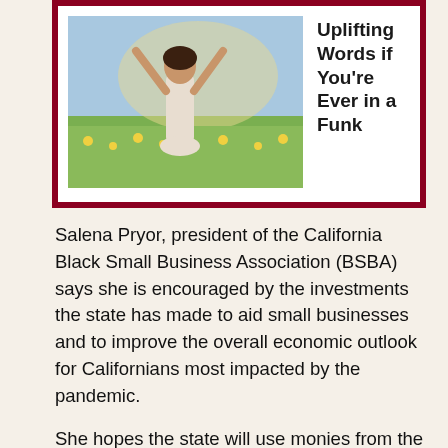[Figure (photo): Woman with arms raised in a field with flowers, sunlit outdoor scene]
Uplifting Words if You're Ever in a Funk
Salena Pryor, president of the California Black Small Business Association (BSBA) says she is encouraged by the investments the state has made to aid small businesses and to improve the overall economic outlook for Californians most impacted by the pandemic.
She hopes the state will use monies from the surplus to sustain some of its initial investments.
“There is still a lot more work to do. 41% of Black